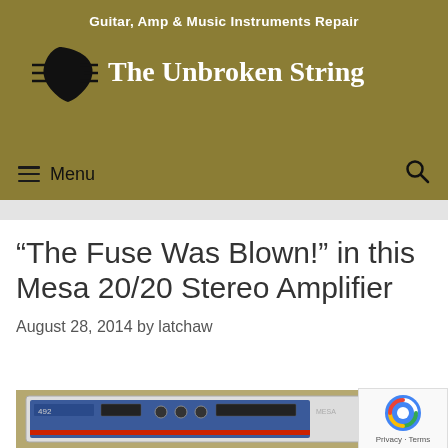Guitar, Amp & Music Instruments Repair
[Figure (logo): The Unbroken String logo — guitar pick icon with horizontal lines and site name text]
Menu
“The Fuse Was Blown!” in this Mesa 20/20 Stereo Amplifier
August 28, 2014 by latchaw
[Figure (photo): Photo of a Mesa 20/20 Stereo Amplifier rack unit with blue front panel]